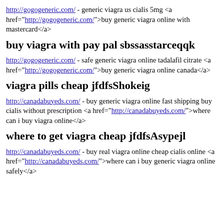http://gogogeneric.com/ - generic viagra us cialis 5mg <a href="http://gogogeneric.com/">buy generic viagra online with mastercard</a>
buy viagra with pay pal sbssasstarceqqk
http://gogogeneric.com/ - safe generic viagra online tadalafil citrate <a href="http://gogogeneric.com/">buy generic viagra online canada</a>
viagra pills cheap jfdfsShokeig
http://canadabuyeds.com/ - buy generic viagra online fast shipping buy cialis without prescription <a href="http://canadabuyeds.com/">where can i buy viagra online</a>
where to get viagra cheap jfdfsAsypejl
http://canadabuyeds.com/ - buy real viagra online cheap cialis online <a href="http://canadabuyeds.com/">where can i buy generic viagra online safely</a>